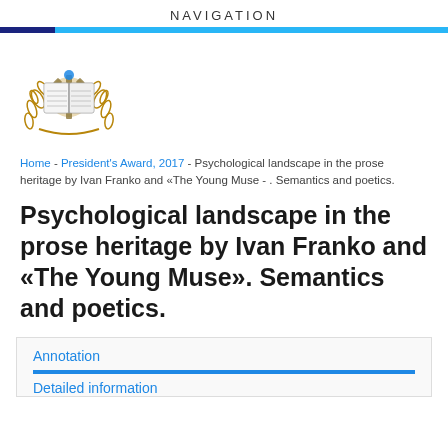NAVIGATION
[Figure (logo): University emblem/crest with open book, laurel wreath, and gear elements in gold and blue]
Home - President's Award, 2017 - Psychological landscape in the prose heritage by Ivan Franko and «The Young Muse - . Semantics and poetics.
Psychological landscape in the prose heritage by Ivan Franko and «The Young Muse». Semantics and poetics.
Annotation
Detailed information